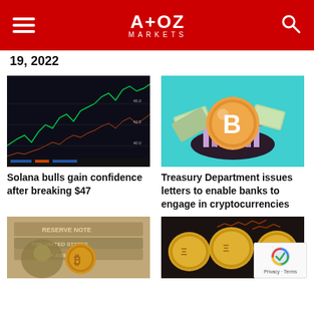A+OZ MARKETS
19, 2022
[Figure (photo): Trading chart screen showing candlestick/line charts on a dark monitor display]
[Figure (illustration): Illustration of a bitcoin coin with a bank building and money bills on a teal background]
Solana bulls gain confidence after breaking $47
Treasury Department issues letters to enable banks to engage in cryptocurrencies
[Figure (photo): Photo of a US dollar bill with a bitcoin coin placed on top]
[Figure (photo): Photo of multiple gold cryptocurrency coins]